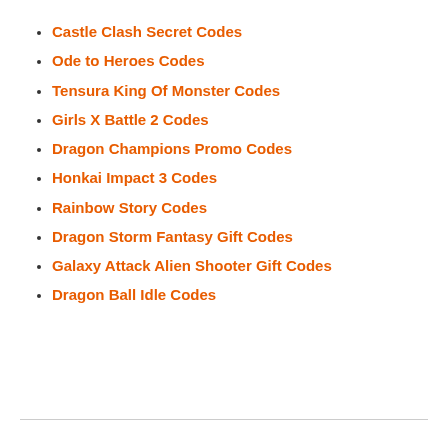Castle Clash Secret Codes
Ode to Heroes Codes
Tensura King Of Monster Codes
Girls X Battle 2 Codes
Dragon Champions Promo Codes
Honkai Impact 3 Codes
Rainbow Story Codes
Dragon Storm Fantasy Gift Codes
Galaxy Attack Alien Shooter Gift Codes
Dragon Ball Idle Codes